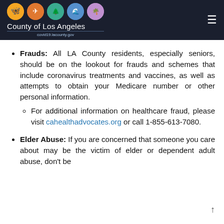County of Los Angeles — covid19.lacounty.gov
Frauds: All LA County residents, especially seniors, should be on the lookout for frauds and schemes that include coronavirus treatments and vaccines, as well as attempts to obtain your Medicare number or other personal information. For additional information on healthcare fraud, please visit cahealthadvocates.org or call 1-855-613-7080.
Elder Abuse: If you are concerned that someone you care about may be the victim of elder or dependent adult abuse, don't be